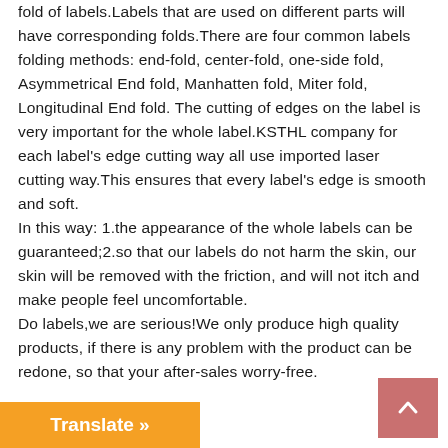fold of labels.Labels that are used on different parts will have corresponding folds.There are four common labels folding methods: end-fold, center-fold, one-side fold, Asymmetrical End fold, Manhatten fold, Miter fold, Longitudinal End fold. The cutting of edges on the label is very important for the whole label.KSTHL company for each label's edge cutting way all use imported laser cutting way.This ensures that every label's edge is smooth and soft.
In this way: 1.the appearance of the whole labels can be guaranteed;2.so that our labels do not harm the skin, our skin will be removed with the friction, and will not itch and make people feel uncomfortable.
Do labels,we are serious!We only produce high quality products, if there is any problem with the product can be redone, so that your after-sales worry-free.
Translate »